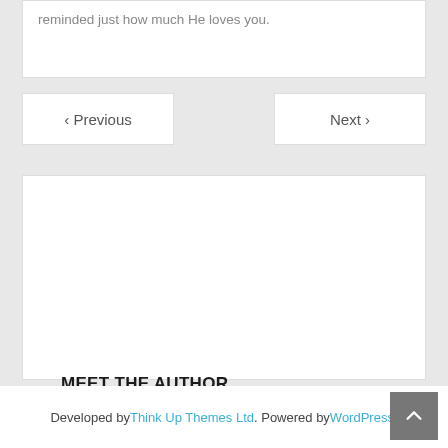reminded just how much He loves you.
< Previous
Next >
MEET THE AUTHOR
ECMCKINLEY
Developed by Think Up Themes Ltd. Powered by WordPress.